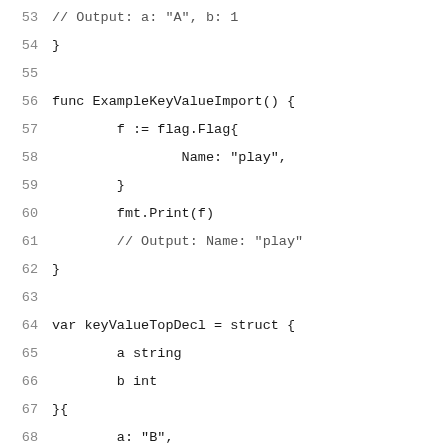Code listing lines 53-73 showing Go example functions ExampleKeyValueImport and ExampleKeyValueTopDecl with struct declarations